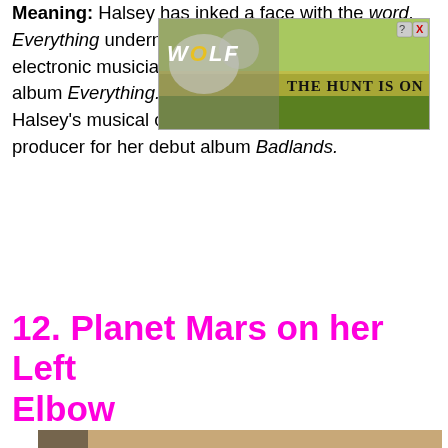Meaning: Halsey has inked a face with the word, Everything underneath in honor of Norwegian electronic musician Lido's 2016 album Everything. Lido played an essential role in Halsey's musical career, serving as the executive producer for her debut album Badlands.
[Figure (screenshot): Advertisement overlay showing a wolf-themed ad with text 'WOLF THE HUNT IS ON!' with a close button (question mark and X) in the top right corner.]
12. Planet Mars on her Left Elbow
[Figure (photo): Close-up photo of Halsey's left elbow area, showing skin with a tattoo circled in red. She is wearing black clothing with a blue zipper visible.]